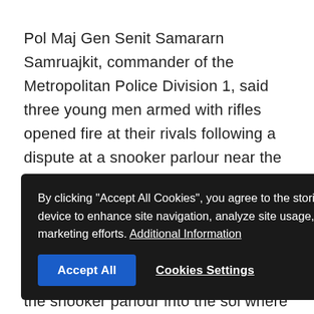Pol Maj Gen Senit Samararn Samruajkit, commander of the Metropolitan Police Division 1, said three young men armed with rifles opened fire at their rivals following a dispute at a snooker parlour near the soi where the shooting took place. Senit quoted witnesses as saying that they saw some 20 men armed with pistols, knives and sticks running from the snooker parlour into the soi where three young men carrying rifles opened fire. S... have yet to investigate the type of rifles used but spent shells from the AK47 assault rile were found at the scene. Juli Sawang-aroon, 62, a tour guide at the shopping mall, said the injured Indians belonged to a group of
[Figure (screenshot): Cookie consent overlay with dark background. Text reads: 'By clicking "Accept All Cookies", you agree to the storing of cookies on your device to enhance site navigation, analyze site usage, and assist in our marketing efforts. Additional Information'. Two buttons: 'Accept All' (blue) and 'Cookies Settings' (white text underlined).]